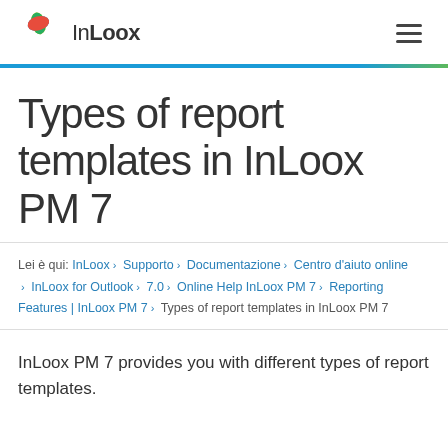InLoox
Types of report templates in InLoox PM 7
Lei è qui: InLoox › Supporto › Documentazione › Centro d'aiuto online › InLoox for Outlook › 7.0 › Online Help InLoox PM 7 › Reporting Features | InLoox PM 7 › Types of report templates in InLoox PM 7
InLoox PM 7 provides you with different types of report templates.